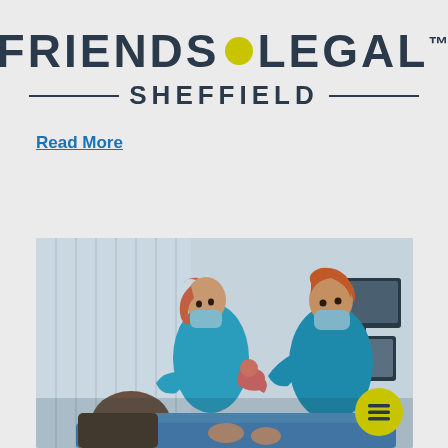FRIENDS LEGAL™ SHEFFIELD
Read More
[Figure (photo): Two medical professionals in blue scrubs and face masks delivering a newborn baby in a hospital setting, with a man and a mother visible in the foreground]